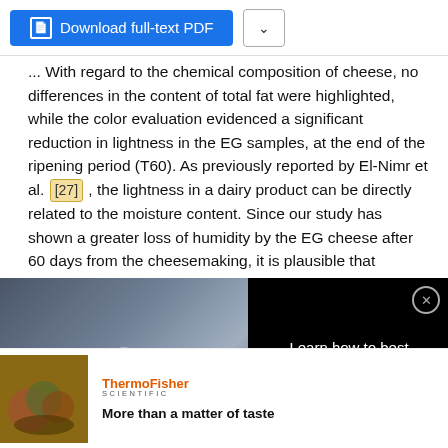[Figure (screenshot): Blue 'Download full-text PDF' button with document icon, and a dropdown arrow button to the right]
... With regard to the chemical composition of cheese, no differences in the content of total fat were highlighted, while the color evaluation evidenced a significant reduction in lightness in the EG samples, at the end of the ripening period (T60). As previously reported by El-Nimr et al. [27] , the lightness in a dairy product can be directly related to the moisture content. Since our study has shown a greater loss of humidity by the EG cheese after 60 days from the cheesemaking, it is plausible that
[Figure (screenshot): Video overlay showing lab equipment with play button and text 'Learn how to best influence lab equipment purchasing behavior'. Thermo Fisher Scientific ad below with food photo and tagline 'More than a matter of taste']